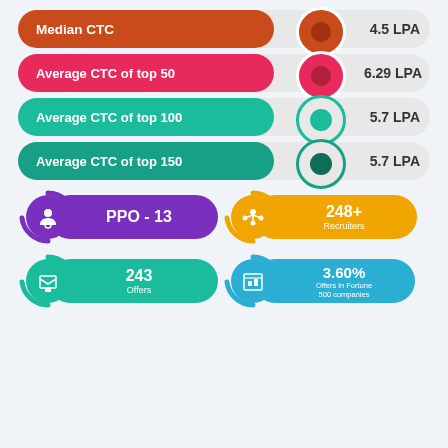[Figure (infographic): Infographic showing placement statistics: Median CTC 4.5 LPA, Average CTC of top 50 6.29 LPA, Average CTC of top 100 5.7 LPA, Average CTC of top 150 5.7 LPA, PPO-13, 248+ Recruiters, 243 Offers, 3.60% Offers in Fortune 500 companies]
Median CTC — 4.5 LPA
Average CTC of top 50 — 6.29 LPA
Average CTC of top 100 — 5.7 LPA
Average CTC of top 150 — 5.7 LPA
PPO - 13
248+ Recruiters
243 Offers
3.60% Offers in Fortune 500 companies